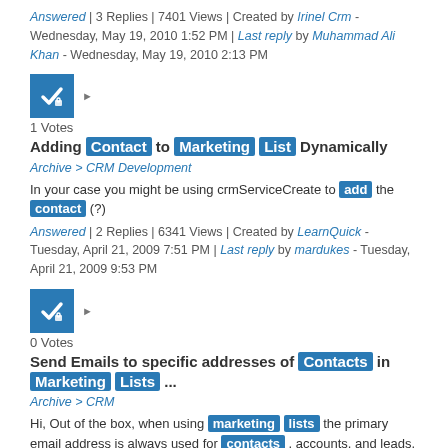Answered | 3 Replies | 7401 Views | Created by Irinel Crm - Wednesday, May 19, 2010 1:52 PM | Last reply by Muhammad Ali Khan - Wednesday, May 19, 2010 2:13 PM
[Figure (other): Blue checkbox icon with lock symbol]
1 Votes
Adding Contact to Marketing List Dynamically
Archive > CRM Development
In your case you might be using crmServiceCreate to add the contact (?)
Answered | 2 Replies | 6341 Views | Created by LearnQuick - Tuesday, April 21, 2009 7:51 PM | Last reply by mardukes - Tuesday, April 21, 2009 9:53 PM
[Figure (other): Blue checkbox icon with lock symbol]
0 Votes
Send Emails to specific addresses of Contacts in Marketing Lists ...
Archive > CRM
Hi, Out of the box, when using marketing lists the primary email address is always used for contacts , accounts, and leads.